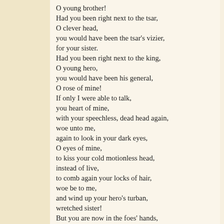O young brother!
Had you been right next to the tsar,
O clever head,
you would have been the tsar's vizier,
for your sister.
Had you been right next to the king,
O young hero,
you would have been his general,
O rose of mine!
If only I were able to talk,
you heart of mine,
with your speechless, dead head again,
woe unto me,
again to look in your dark eyes,
O eyes of mine,
to kiss your cold motionless head,
instead of live,
to comb again your locks of hair,
woe be to me,
and wind up your hero's turban,
wretched sister!
But you are now in the foes' hands,
may they reap death!
They will despoil your lovely head,
arch-enemies!